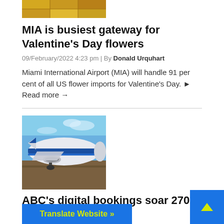[Figure (photo): Partial image of yellow/gold stacked boxes or crates (flowers/cargo) at top of page]
MIA is busiest gateway for Valentine’s Day flowers
09/February/2022 4:23 pm | By Donald Urquhart
Miami International Airport (MIA) will handle 91 per cent of all US flower imports for Valentine’s Day. ► Read more →
[Figure (photo): Large blue and white cargo airplane on tarmac under blue sky]
ABC’s digital bookings soar 270 per cent in 2021
By Donald Urquhart
Translate Website »